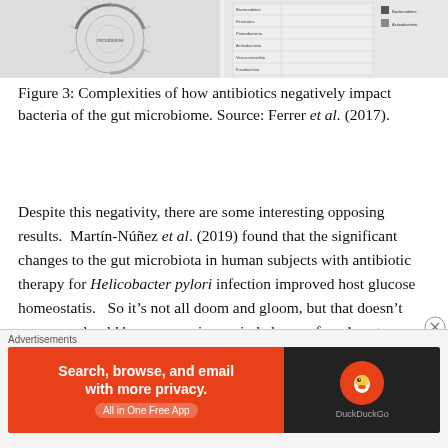[Figure (other): Partial view of two figures from a scientific paper — a circular phylogenetic/microbiome diagram on the left and a table/chart panel on the right.]
Figure 3: Complexities of how antibiotics negatively impact bacteria of the gut microbiome. Source: Ferrer et al. (2017).
Despite this negativity, there are some interesting opposing results.  Martín-Núñez et al. (2019) found that the significant changes to the gut microbiota in human subjects with antibiotic therapy for Helicobacter pylori infection improved host glucose homeostatis.   So it's not all doom and gloom, but that doesn't mean we should be encouraging an imbalance of one's gut microbiota!  Furthermore, Raymond et al. (2016) raises